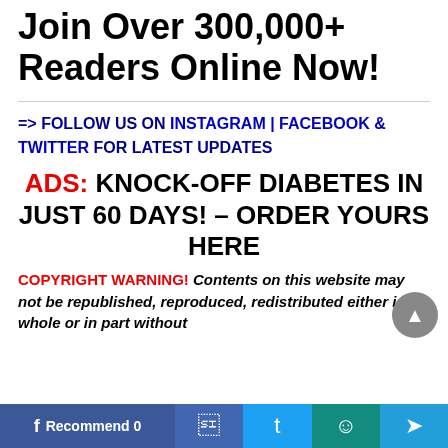Join Over 300,000+ Readers Online Now!
=> FOLLOW US ON INSTAGRAM | FACEBOOK & TWITTER FOR LATEST UPDATES
ADS: KNOCK-OFF DIABETES IN JUST 60 DAYS! – ORDER YOURS HERE
COPYRIGHT WARNING! Contents on this website may not be republished, reproduced, redistributed either in whole or in part without
Recommend 0  [Facebook] [Twitter] [WhatsApp] [Telegram]